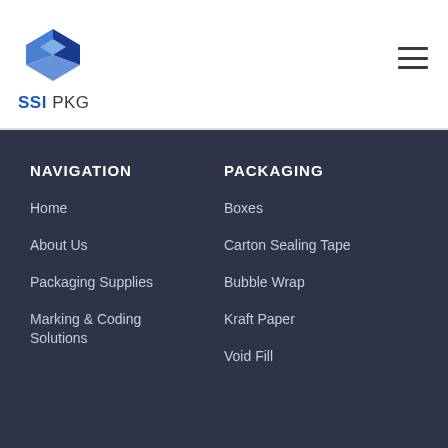[Figure (logo): SSI PKG logo: blue diamond/cube shape with text SSI PKG below]
SSI PKG
NAVIGATION
PACKAGING
Home
Boxes
About Us
Carton Sealing Tape
Packaging Supplies
Bubble Wrap
Marking & Coding Solutions
Kraft Paper
Void Fill